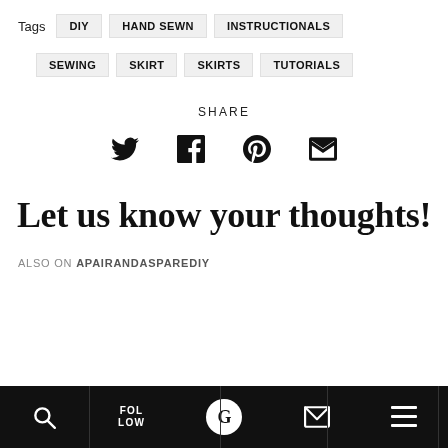Tags  DIY  HAND SEWN  INSTRUCTIONALS  SEWING  SKIRT  SKIRTS  TUTORIALS
SHARE
[Figure (other): Social share icons: Twitter bird, Facebook f, Pinterest P, Email envelope]
Let us know your thoughts!
ALSO ON APAIRANDASPAREDIY
Search | FOLLOW | G | Email | Menu